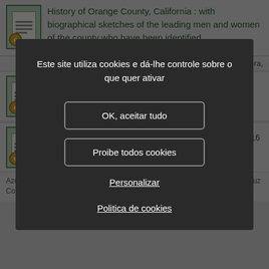History of Orange County, California : with biographical sketches of the leading men and women of the county who have been identified
ora,
n of her
216
Azores, the sister of Antone Mendes of Arcisa, and Frank, Marian... (Santa-Cruz Co., California, EUA - 1907)
[Figure (screenshot): Cookie consent modal dialog in Portuguese with dark background. Contains text 'Este site utiliza cookies e dá-lhe controle sobre o que quer ativar', two buttons: 'OK, aceitar tudo' and 'Proibe todos cookies', and two links: 'Personalizar' and 'Politica de cookies'.]